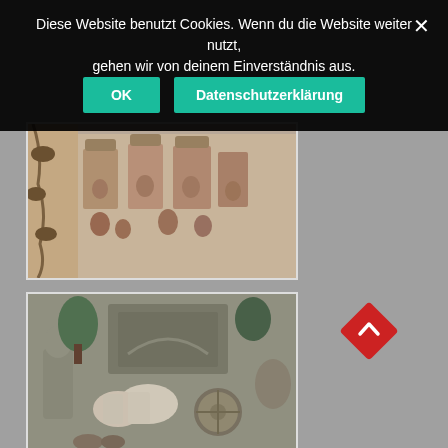Diese Website benutzt Cookies. Wenn du die Website weiter nutzt, gehen wir von deinem Einverständnis aus.
OK
Datenschutzerklärung
[Figure (photo): Stone temple carvings showing Hindu deities and figures in ornate architectural niches]
[Figure (photo): Stone temple carvings showing a chariot scene with horses, warriors and mythological figures]
[Figure (photo): Partial view of another stone temple carving (partially visible at bottom)]